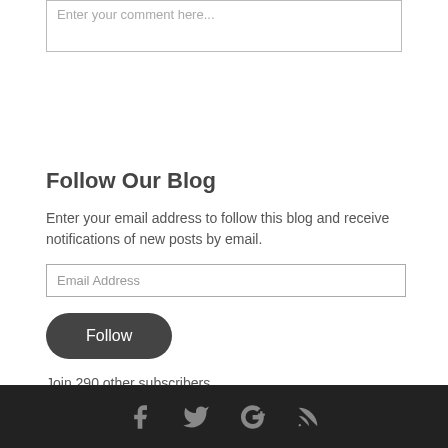Enter your comment here...
Follow Our Blog
Enter your email address to follow this blog and receive notifications of new posts by email.
Email Address
Follow
Join 290 other subscribers
Social icons: Facebook, Twitter, Google+, RSS